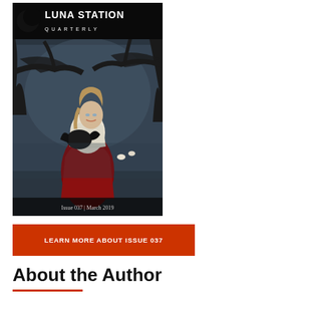[Figure (illustration): Cover of Luna Station Quarterly magazine, Issue 037, March 2019. Shows a young woman with light hair holding a dark creature (dragon or similar), dressed in a white top and red skirt, standing in a dark misty forest with gnarled trees. The magazine logo 'LUNA STATION QUARTERLY' with a crescent moon icon appears at the top on a black band. Text at the bottom reads 'Issue 037 | March 2019'.]
LEARN MORE ABOUT ISSUE 037
About the Author